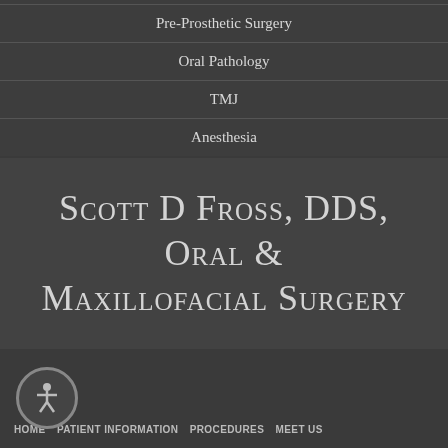Pre-Prosthetic Surgery
Oral Pathology
TMJ
Anesthesia
Scott D Fross, DDS, Oral & Maxillofacial Surgery
HOME  PATIENT INFORMATION  PROCEDURES  MEET US  SURGICAL INSTRUCTIONS  REFERRING DOCTORS  CONTACT US